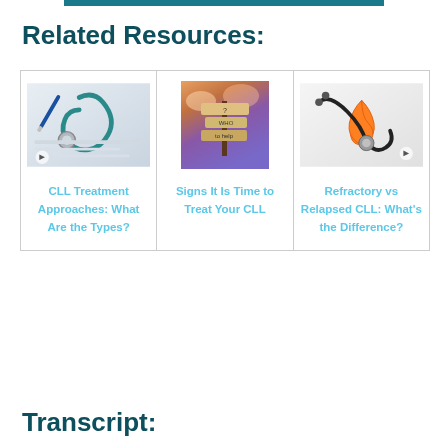Related Resources:
[Figure (photo): Three resource cards showing: 1) A stethoscope and pen on medical paperwork with link 'CLL Treatment Approaches: What Are the Types?'; 2) A colorful signpost against a sunset sky with link 'Signs It Is Time to Treat Your CLL'; 3) An orange awareness ribbon next to a stethoscope with link 'Refractory vs Relapsed CLL: What's the Difference?']
Transcript: